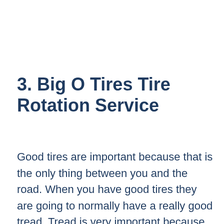3. Big O Tires Tire Rotation Service
Good tires are important because that is the only thing between you and the road. When you have good tires they are going to normally have a really good tread. Tread is very important because that's what dissipates of water if you are in a rainstorm. You definitely want to have a good quality rubber compound. When you go to top-quality tires that are known to have good rubber, your braking is a lot better, your cornering is a lot better and your